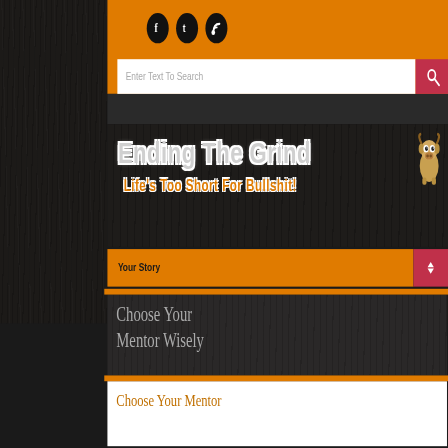[Figure (screenshot): Website header for 'Ending The Grind' blog with orange background, social icons (Facebook, Twitter, RSS), and a search bar]
Ending The Grind
Life's Too Short For Bullshit!
Your Story
Choose Your Mentor Wisely
Choose Your Mentor